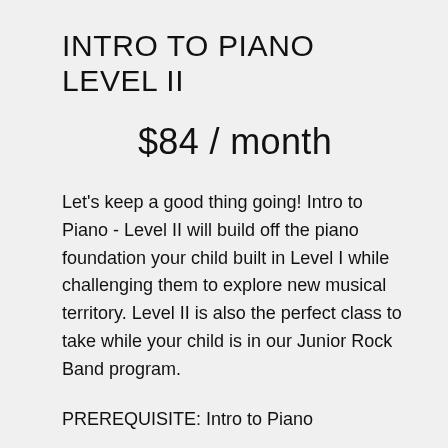INTRO TO PIANO LEVEL II
$84 / month
Let's keep a good thing going! Intro to Piano - Level II will build off the piano foundation your child built in Level I while challenging them to explore new musical territory. Level II is also the perfect class to take while your child is in our Junior Rock Band program.
PREREQUISITE: Intro to Piano